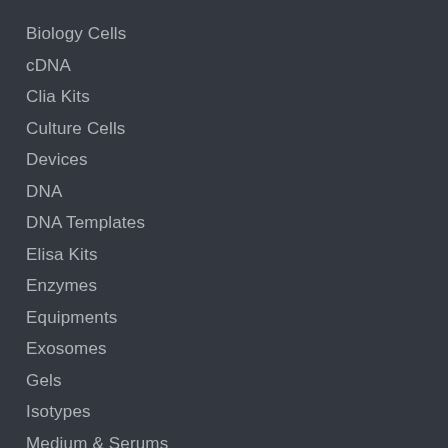Biology Cells
cDNA
Clia Kits
Culture Cells
Devices
DNA
DNA Templates
Elisa Kits
Enzymes
Equipments
Exosomes
Gels
Isotypes
Medium & Serums
NATtrol
Panel
Particles
PCR